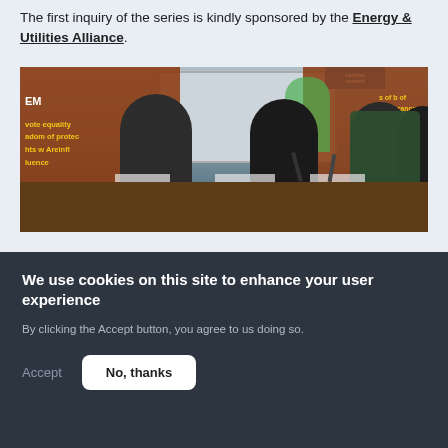The first inquiry of the series is kindly sponsored by the Energy & Utilities Alliance.
[Figure (photo): Four men in suits seated at a panel table in a formal hearing room, with banners in the background including text about equality, protection, and a carbon banner. A presentation screen is visible behind them.]
We use cookies on this site to enhance your user experience
By clicking the Accept button, you agree to us doing so.
Accept
No, thanks